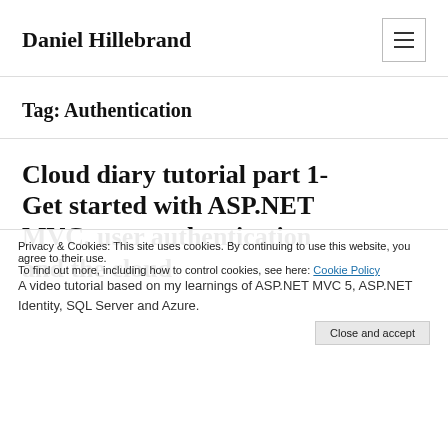Daniel Hillebrand
Tag: Authentication
Cloud diary tutorial part 1- Get started with ASP.NET MVC, user authentication and the cloud
Privacy & Cookies: This site uses cookies. By continuing to use this website, you agree to their use. To find out more, including how to control cookies, see here: Cookie Policy
A video tutorial based on my learnings of ASP.NET MVC 5, ASP.NET Identity, SQL Server and Azure.